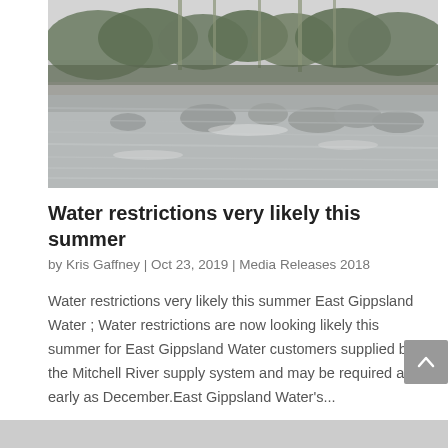[Figure (photo): A black and white photograph of a river scene with rocks in the water and eucalyptus trees in the background — the Mitchell River area in East Gippsland, Australia.]
Water restrictions very likely this summer
by Kris Gaffney | Oct 23, 2019 | Media Releases 2018
Water restrictions very likely this summer East Gippsland Water ; Water restrictions are now looking likely this summer for East Gippsland Water customers supplied by the Mitchell River supply system and may be required as early as December.East Gippsland Water's...